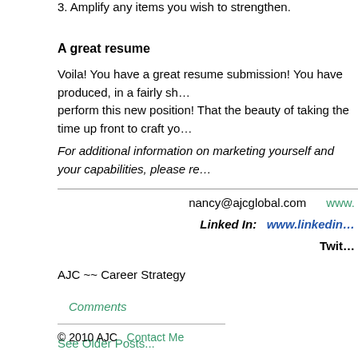3. Amplify any items you wish to strengthen.
A great resume
Voila!  You have a great resume submission!  You have produced, in a fairly sh… perform this new position!  That the beauty of taking the time up front to craft yo…
For additional information on marketing yourself and your capabilities, please re…
nancy@ajcglobal.com    www.
Linked In:  www.linkedin…
Twit…
AJC ~~ Career Strategy
Comments
See Older Posts...
© 2010 AJC   Contact Me